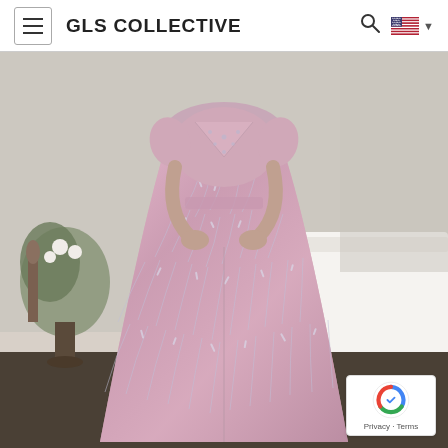GLS COLLECTIVE
[Figure (photo): A woman wearing a pink/rose sequined ball gown with a V-neckline and short sleeves, photographed from the waist down in front of a white couch and floral arrangement. The dress has a tropical leaf sequin pattern.]
Privacy · Terms